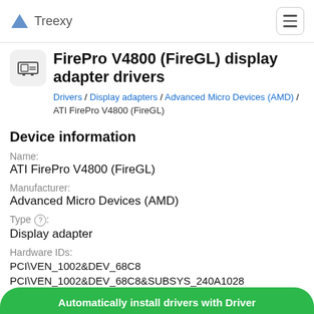Treexy
FirePro V4800 (FireGL) display adapter drivers
Drivers / Display adapters / Advanced Micro Devices (AMD) / ATI FirePro V4800 (FireGL)
Device information
Name:
ATI FirePro V4800 (FireGL)
Manufacturer:
Advanced Micro Devices (AMD)
Type:
Display adapter
Hardware IDs:
PCI\VEN_1002&DEV_68C8
PCI\VEN_1002&DEV_68C8&SUBSYS_240A1028
Automatically install drivers with Driver...